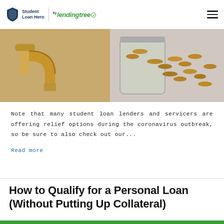Student Loan Hero by LendingTree
[Figure (photo): Close-up photo of a golden faucet with a cork stopper next to a glass jar spilling coins, on a white background.]
Note that many student loan lenders and servicers are offering relief options during the coronavirus outbreak, so be sure to also check out our...
Read more
How to Qualify for a Personal Loan (Without Putting Up Collateral)